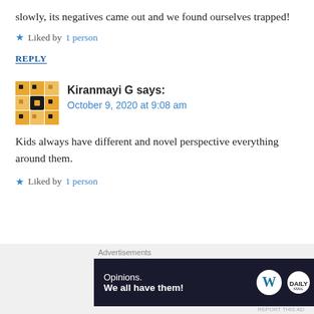slowly, its negatives came out and we found ourselves trapped!
★ Liked by 1 person
REPLY
Kiranmayi G says: October 9, 2020 at 9:08 am
Kids always have different and novel perspective everything around them.
★ Liked by 1 person
[Figure (infographic): WordPress advertisement banner with text 'Opinions. We all have them!' and WordPress and Daily Mail logos on dark background]